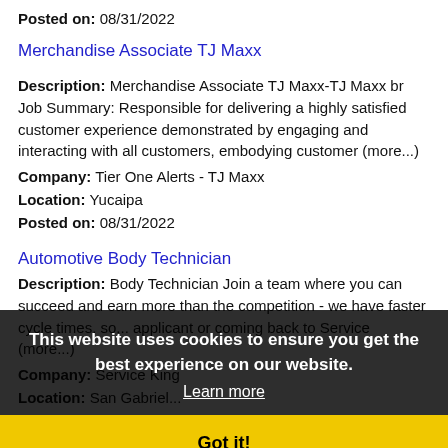Posted on: 08/31/2022
Merchandise Associate TJ Maxx
Description: Merchandise Associate TJ Maxx-TJ Maxx br Job Summary: Responsible for delivering a highly satisfied customer experience demonstrated by engaging and interacting with all customers, embodying customer (more...)
Company: Tier One Alerts - TJ Maxx
Location: Yucaipa
Posted on: 08/31/2022
Automotive Body Technician
Description: Body Technician Join a team where you can succeed and earn more than the competition - we have faster cycle times, so... applicant or coming back to Service (more...)
Company: Service King
Location: San Gabriel...
Posted on: 08/31/2022
This website uses cookies to ensure you get the best experience on our website. Learn more Got it!
Accounts Payable
Description: Are you looking for your next career move Prominent Employer is seeking the perfect candidate for this high paced high volume role of the Accounts...